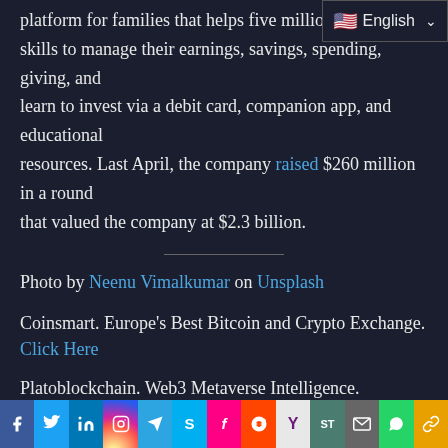platform for families that helps five million skills to manage their earnings, savings, spending, giving, and learn to invest via a debit card, companion app, and educational resources. Last April, the company raised $260 million in a round that valued the company at $2.3 billion.
Photo by Neenu Vimalkumar on Unsplash
Coinsmart. Europe's Best Bitcoin and Crypto Exchange. Click Here
Platoblockchain. Web3 Metaverse Intelligence. Knowledge Amplified. Access Here.
Source: https://finovate.com/greenlight-unveils-credit-card/
[Figure (infographic): Social media sharing bar with icons: Facebook, Twitter, LinkedIn, Instagram, Telegram, Skype, Flipboard, Reddit, Yahoo, ShareThis, Email, WhatsApp, Copy]